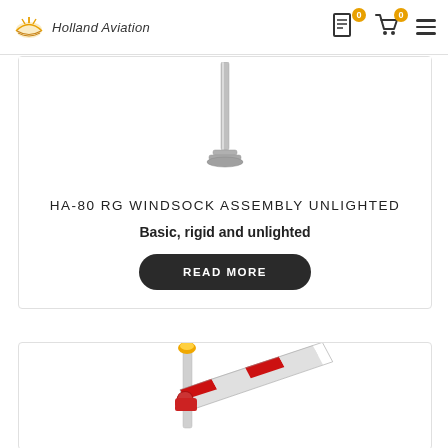Holland Aviation — header with logo, quote icon (0), cart icon (0), and hamburger menu
[Figure (photo): Metal windsock pole/mast product photo on white background]
HA-80 RG WINDSOCK ASSEMBLY UNLIGHTED
Basic, rigid and unlighted
READ MORE
[Figure (photo): Red and white illuminated windsock assembly product photo on white background, with amber beacon on top]